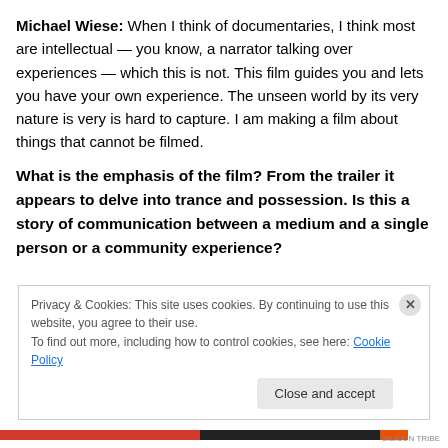Michael Wiese: When I think of documentaries, I think most are intellectual — you know, a narrator talking over experiences — which this is not. This film guides you and lets you have your own experience. The unseen world by its very nature is very is hard to capture. I am making a film about things that cannot be filmed.
What is the emphasis of the film? From the trailer it appears to delve into trance and possession. Is this a story of communication between a medium and a single person or a community experience?
Privacy & Cookies: This site uses cookies. By continuing to use this website, you agree to their use.
To find out more, including how to control cookies, see here: Cookie Policy